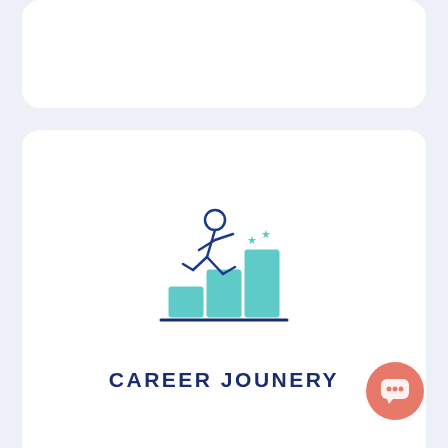[Figure (illustration): White card partially visible at top of page, cropped]
[Figure (illustration): White card with career journey icon showing a figure running up steps/bars with stars, a dark blue divider line, and text CAREER JOUNERY below]
CAREER JOUNERY
[Figure (illustration): White card partially visible at bottom with a laptop/clock icon and a salmon-colored chat bubble icon in bottom right corner]